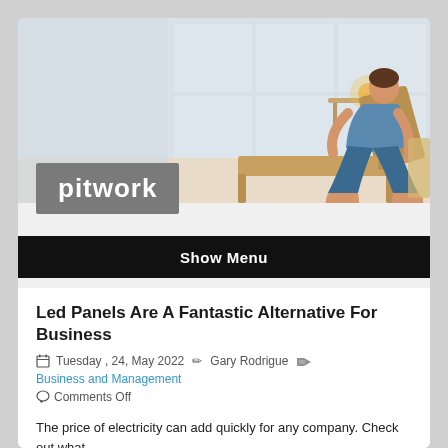[Figure (photo): Website header image showing a woman in blue clothing reclining on a wooden chair in a spa-like room with white walls and a warm glowing lamp on a side table.]
pitwork
Show Menu
Led Panels Are A Fantastic Alternative For Business
Tuesday , 24, May 2022   Gary Rodrigue   Business and Management   Comments Off
The price of electricity can add quickly for any company. Check out what